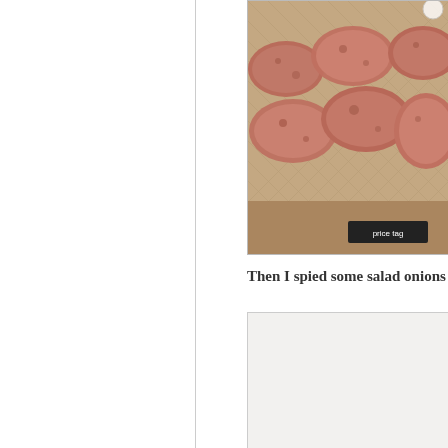[Figure (photo): Photo of red potatoes in a display basket/tray at a market, partially cropped at top]
Then I spied some salad onions
[Figure (photo): Second photo, mostly white/blank, partially visible below the text]